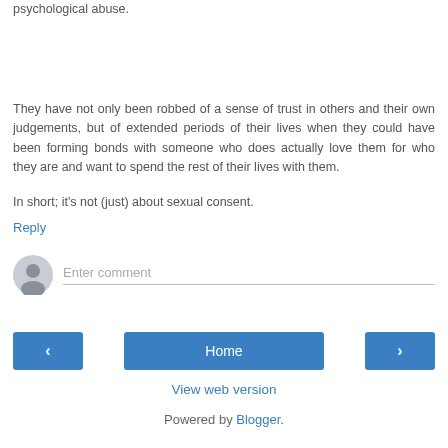psychological abuse.
They have not only been robbed of a sense of trust in others and their own judgements, but of extended periods of their lives when they could have been forming bonds with someone who does actually love them for who they are and want to spend the rest of their lives with them.
In short; it's not (just) about sexual consent.
Reply
[Figure (other): Comment input field with user avatar icon and placeholder text 'Enter comment']
[Figure (other): Navigation bar with left arrow button, Home button, and right arrow button]
View web version
Powered by Blogger.